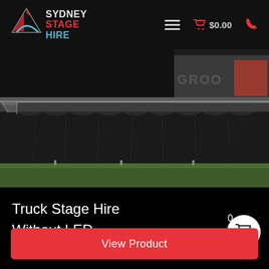Sydney Stage Hire — navigation bar with logo, hamburger menu, cart $0.00, phone icon
[Figure (photo): Outdoor truck stage with black skirting on green grass, metal stairs on the left side, a large stage platform visible, truck with 'GROO' text partially visible in background]
Truck Stage Hire Without LED
0
View Product